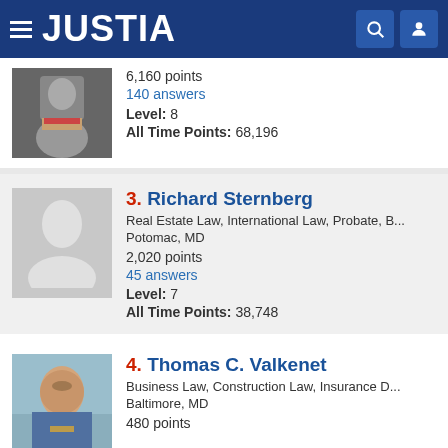JUSTIA
6,160 points
140 answers
Level: 8
All Time Points: 68,196
3. Richard Sternberg
Real Estate Law, International Law, Probate, B...
Potomac, MD
2,020 points
45 answers
Level: 7
All Time Points: 38,748
4. Thomas C. Valkenet
Business Law, Construction Law, Insurance D...
Baltimore, MD
480 points